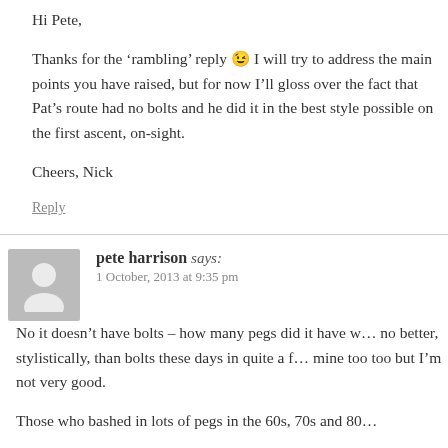Hi Pete,
Thanks for the ‘rambling’ reply 😉 I will try to address the main points you have raised, but for now I’ll gloss over the fact that Pat’s route had no bolts and he did it in the best style possible on the first ascent, on-sight.
Cheers, Nick
Reply
pete harrison says:
1 October, 2013 at 9:35 pm
No it doesn’t have bolts – how many pegs did it have w… no better, stylistically, than bolts these days in quite a f… mine too too but I’m not very good.
Those who bashed in lots of pegs in the 60s, 70s and 80…